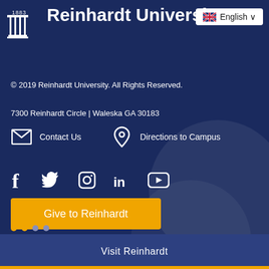[Figure (logo): Reinhardt University logo with columns icon and '1883' above, white text on dark navy background]
[Figure (other): English language selector button with UK flag and dropdown arrow, white background]
© 2019 Reinhardt University. All Rights Reserved.
7300 Reinhardt Circle | Waleska GA 30183
Contact Us
Directions to Campus
[Figure (illustration): Social media icons row: Facebook (f), Twitter (bird/feather), Instagram (camera), LinkedIn (in), YouTube (play button)]
Give to Reinhardt
Visit Reinhardt